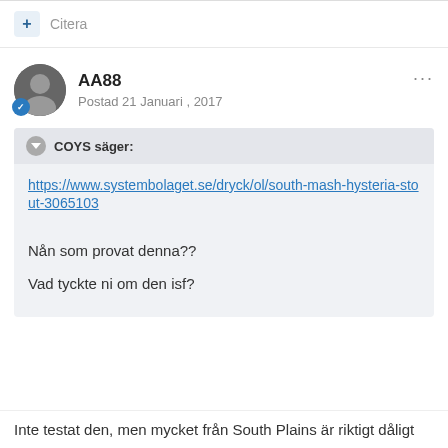+ Citera
AA88
Postad 21 Januari , 2017
COYS säger:
https://www.systembolaget.se/dryck/ol/south-mash-hysteria-stout-3065103
Nån som provat denna??
Vad tyckte ni om den isf?
Inte testat den, men mycket från South Plains är riktigt dåligt